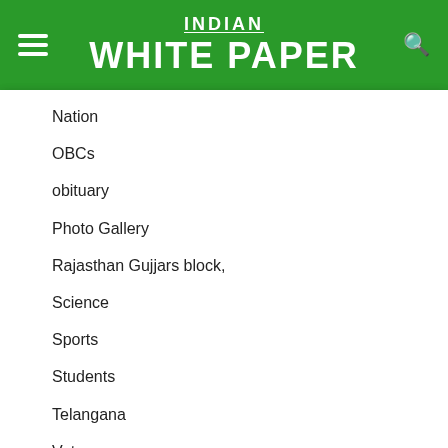INDIAN WHITE PAPER
Nation
OBCs
obituary
Photo Gallery
Rajasthan Gujjars block,
Science
Sports
Students
Telangana
Veterans
Welfare State
Women